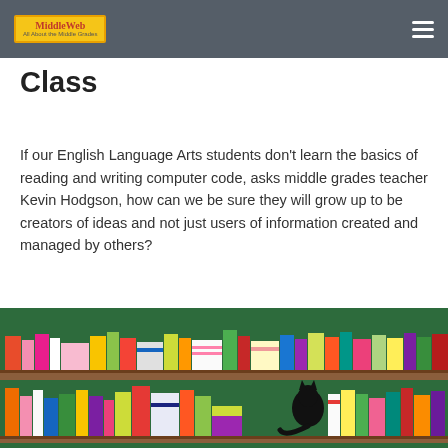MiddleWeb
…y g p … g Class
If our English Language Arts students don't learn the basics of reading and writing computer code, asks middle grades teacher Kevin Hodgson, how can we be sure they will grow up to be creators of ideas and not just users of information created and managed by others?
[Figure (illustration): Colorful illustration of two bookshelves filled with books of various colors and sizes, with a black cat silhouette sitting on the lower shelf among the books.]